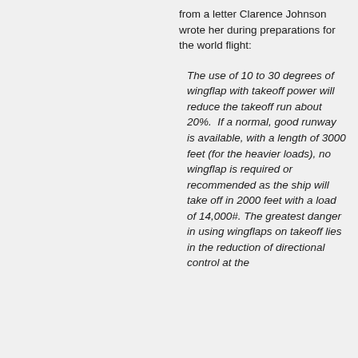from a letter Clarence Johnson wrote her during preparations for the world flight:
The use of 10 to 30 degrees of wingflap with takeoff power will reduce the takeoff run about 20%.  If a normal, good runway is available, with a length of 3000 feet (for the heavier loads), no wingflap is required or recommended as the ship will take off in 2000 feet with a load of 14,000#.  The greatest danger in using wingflaps on takeoff lies in the reduction of directional control at the